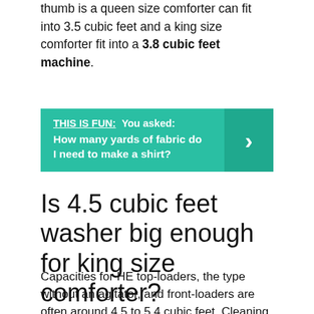thumb is a queen size comforter can fit into 3.5 cubic feet and a king size comforter fit into a 3.8 cubic feet machine.
THIS IS FUN: You asked: How many yards of fabric do I need to make a shirt?
Is 4.5 cubic feet washer big enough for king size comforter?
Capacities for HE top-loaders, the type without an agitator, and front-loaders are often around 4.5 to 5.4 cubic feet. Cleaning comforters. Instead of lugging your king-sized comforter to a laundromat, you can wash it in any washer with a claimed